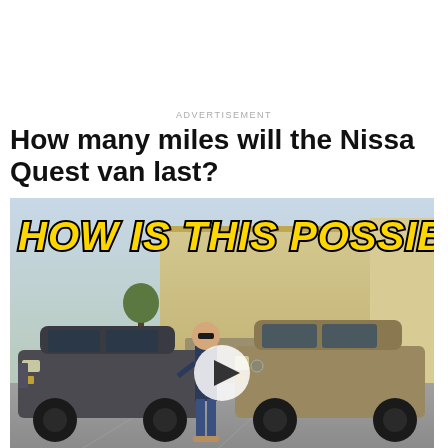ADVERTISEMENT
How many miles will the Nissa Quest van last?
[Figure (screenshot): Video thumbnail showing a man standing between a dark Range Rover SUV and a gold/tan Nissan Quest minivan in a driveway in front of a house with garage doors. Bold yellow italic text overlay reads 'HOW IS THIS POSSIBLE???' with a play button in the center.]